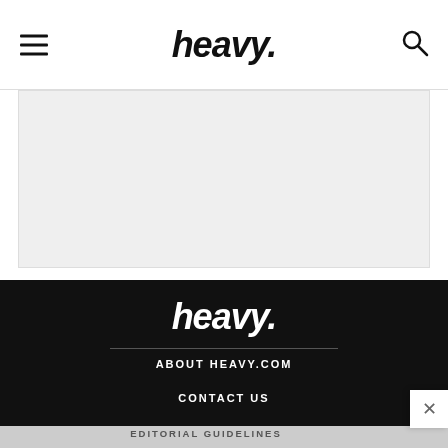heavy.
[Figure (other): Gray advertisement placeholder area]
[Figure (logo): heavy. logo in white on black footer background]
ABOUT HEAVY.COM
CONTACT US
EDITORIAL GUIDELINES